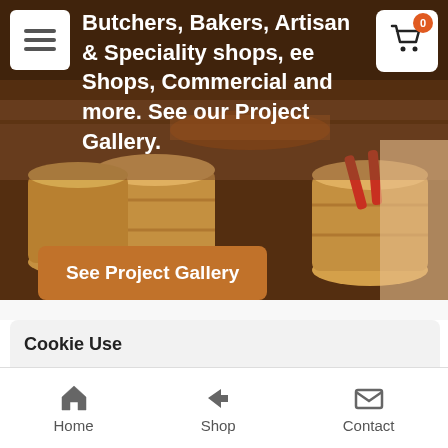[Figure (photo): Hero background image of a butcher shop with wooden barrels and meat display counters. Overlay text reads: Butchers, Bakers, Artisan & Speciality shops, [Cof]fee Shops, Commercial and more. See our Project Gallery.]
Butchers, Bakers, Artisan & Speciality shops, ee Shops, Commercial and more. See our Project Gallery.
See Project Gallery
Cookie Use
We use cookies to ensure a smooth browsing experience. By accepting, you agree the use of cookies. Learn More
Accept all
Settings
No Thanks
PING
securely
Home  Shop  Contact